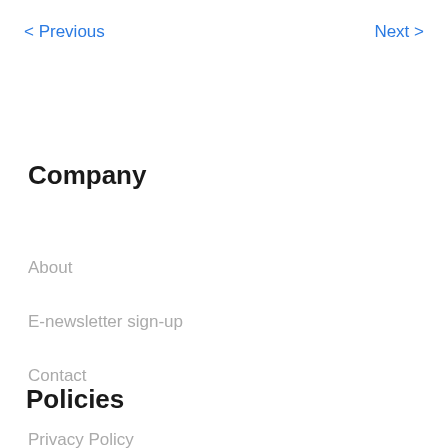< Previous   Next >
Company
About
E-newsletter sign-up
Contact
Policies
Privacy Policy